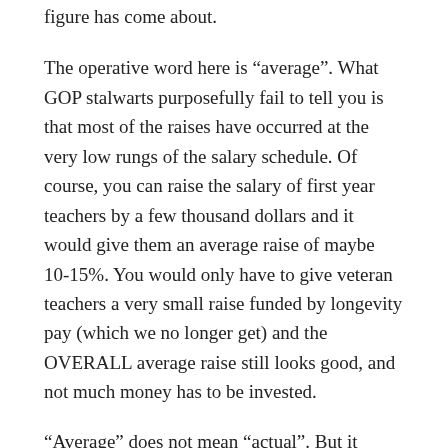figure has come about.
The operative word here is “average”. What GOP stalwarts purposefully fail to tell you is that most of the raises have occurred at the very low rungs of the salary schedule. Of course, you can raise the salary of first year teachers by a few thousand dollars and it would give them an average raise of maybe 10-15%. You would only have to give veteran teachers a very small raise funded by longevity pay (which we no longer get) and the OVERALL average raise still looks good, and not much money has to be invested.
“Average” does not mean “actual”. But it sounds great to those who don’t understand the math.
So how can that be the average pay in NC be over 54K when no one can really make much over 52K as a new teacher in